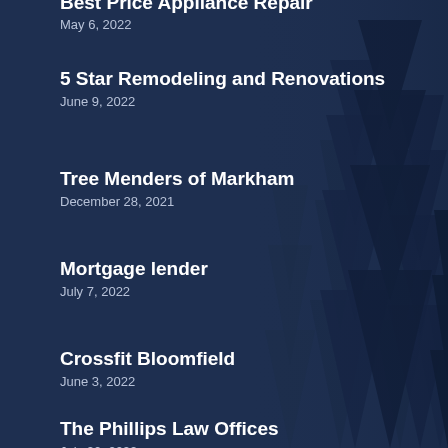Best Price Appliance Repair
May 6, 2022
5 Star Remodeling and Renovations
June 9, 2022
Tree Menders of Markham
December 28, 2021
Mortgage lender
July 7, 2022
Crossfit Bloomfield
June 3, 2022
The Phillips Law Offices
July 20, 2022